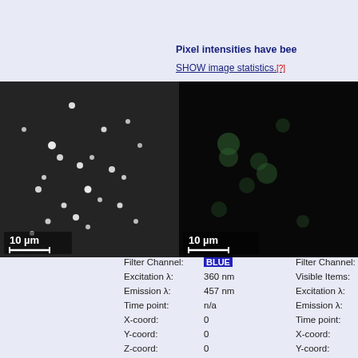Pixel intensities have bee
SHOW image statistics.[?]
[Figure (photo): Fluorescence microscopy image (blue channel, DAPI), showing bright white spots of cells on dark background. Scale bar: 10 μm.]
[Figure (photo): Fluorescence microscopy image (green channel), showing dim green-tinted cells on dark background. Scale bar: 10 μm.]
Filter Channel: BLUE
Excitation λ: 360 nm
Emission λ: 457 nm
Time point: n/a
X-coord: 0
Y-coord: 0
Z-coord: 0
Filter Channel: GREEN
Visible Items: GIN4
Excitation λ: 490 n
Emission λ: 528 n
Time point: n/a
X-coord: 0
Y-coord: 0